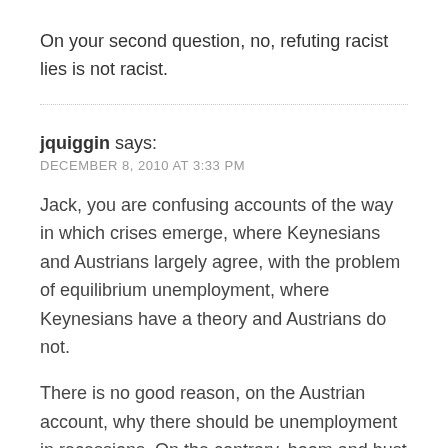On your second question, no, refuting racist lies is not racist.
jquiggin says:
DECEMBER 8, 2010 AT 3:33 PM
Jack, you are confusing accounts of the way in which crises emerge, where Keynesians and Austrians largely agree, with the problem of equilibrium unemployment, where Keynesians have a theory and Austrians do not.
There is no good reason, on the Austrian account, why there should be unemployment in recessions. On the contrary, boom and bust cycles in investment demand should be offset by opposite cycles in